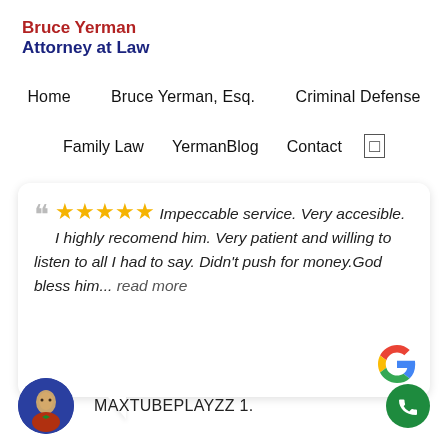Bruce Yerman Attorney at Law
Home   Bruce Yerman, Esq.   Criminal Defense   Family Law   YermanBlog   Contact
" ★★★★★ Impeccable service. Very accesible. I highly recomend him. Very patient and willing to listen to all I had to say. Didn't push for money.God bless him... read more
MAXTUBEPLAYZZ 1.